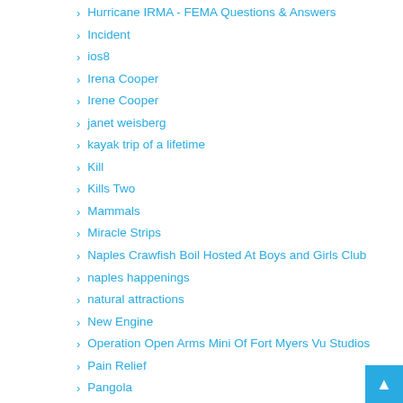Hurricane IRMA - FEMA Questions & Answers
Incident
ios8
Irena Cooper
Irene Cooper
janet weisberg
kayak trip of a lifetime
Kill
Kills Two
Mammals
Miracle Strips
Naples Crawfish Boil Hosted At Boys and Girls Club
naples happenings
natural attractions
New Engine
Operation Open Arms Mini Of Fort Myers Vu Studios
Pain Relief
Pangola
patrick mahoney
Plane